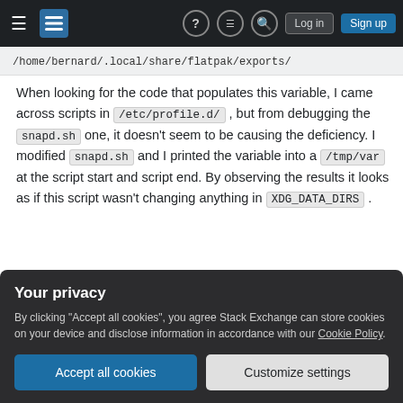Stack Exchange navigation bar with hamburger menu, logo, help, chat, search icons, Log in and Sign up buttons
/home/bernard/.local/share/flatpak/exports/
When looking for the code that populates this variable, I came across scripts in /etc/profile.d/ , but from debugging the snapd.sh one, it doesn't seem to be causing the deficiency. I modified snapd.sh and I printed the variable into a /tmp/var at the script start and script end. By observing the results it looks as if this script wasn't changing anything in XGD_DATA_DIRS .
Your privacy
By clicking "Accept all cookies", you agree Stack Exchange can store cookies on your device and disclose information in accordance with our Cookie Policy.
Accept all cookies
Customize settings
Share           edited Jan 10 at 10:29